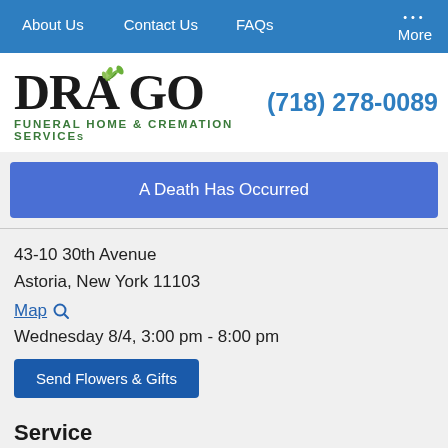About Us   Contact Us   FAQs   More
[Figure (logo): Drago Funeral Home & Cremation Services logo with green leaf decoration and phone number (718) 278-0089]
A Death Has Occurred
43-10 30th Avenue
Astoria, New York 11103
Map 🔍
Wednesday 8/4, 3:00 pm - 8:00 pm
Send Flowers & Gifts
Service
St. Catherine And St. George Church